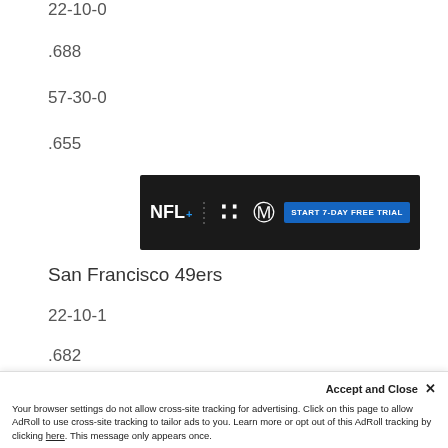22-10-0
.688
57-30-0
.655
[Figure (other): NFL+ advertisement banner with Indianapolis Colts logo and 'START 7-DAY FREE TRIAL' button]
San Francisco 49ers
22-10-1
.682
50-36-1
.580
Accept and Close ✕
Your browser settings do not allow cross-site tracking for advertising. Click on this page to allow AdRoll to use cross-site tracking to tailor ads to you. Learn more or opt out of this AdRoll tracking by clicking here. This message only appears once.